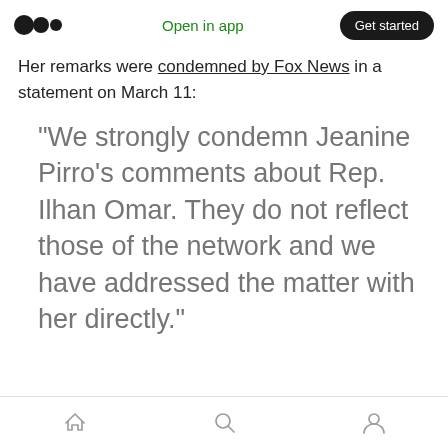Open in app | Get started
Her remarks were condemned by Fox News in a statement on March 11:
“We strongly condemn Jeanine Pirro’s comments about Rep. Ilhan Omar. They do not reflect those of the network and we have addressed the matter with her directly.”
Home | Search | Profile